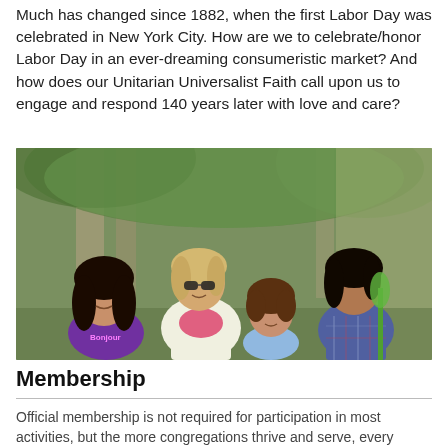Much has changed since 1882, when the first Labor Day was celebrated in New York City. How are we to celebrate/honor Labor Day in an ever-dreaming consumeristic market? And how does our Unitarian Universalist Faith call upon us to engage and respond 140 years later with love and care?
[Figure (photo): Outdoor photo of four people — an adult woman with blonde hair and sunglasses wearing a white jacket over a pink shirt, and three girls of varying ages and ethnicities smiling together, with trees in the background.]
Membership
Official membership is not required for participation in most activities, but the more congregations thrive and serve, every...